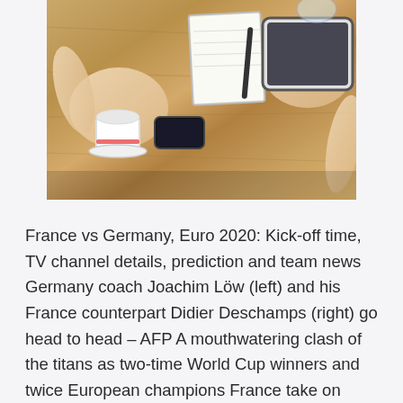[Figure (photo): Photo showing people seated at a wooden table with a coffee cup, notebook, smartphone, and tablet visible — appears to be a meeting or press conference scene]
France vs Germany, Euro 2020: Kick-off time, TV channel details, prediction and team news Germany coach Joachim Löw (left) and his France counterpart Didier Deschamps (right) go head to head – AFP A mouthwatering clash of the titans as two-time World Cup winners and twice European champions France take on four-time world champions and three A general view of the Euro 2020 logo - Getty Euro 2020 has been rescheduled to this summer with 12 countries set to host one of the biggest events in world sport. Jun 14,